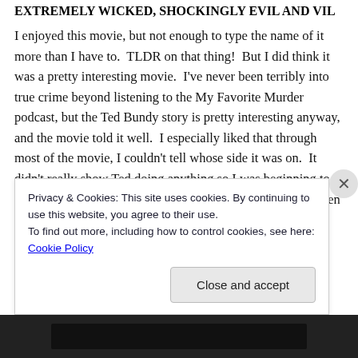EXTREMELY WICKED, SHOCKINGLY EVIL AND VIL…
I enjoyed this movie, but not enough to type the name of it more than I have to.  TLDR on that thing!  But I did think it was a pretty interesting movie.  I've never been terribly into true crime beyond listening to the My Favorite Murder podcast, but the Ted Bundy story is pretty interesting anyway, and the movie told it well.  I especially liked that through most of the movie, I couldn't tell whose side it was on.  It didn't really show Ted doing anything so I was beginning to wonder if they were trying to remain impartial or maybe even suggesting that he was innocent, but it was
Privacy & Cookies: This site uses cookies. By continuing to use this website, you agree to their use.
To find out more, including how to control cookies, see here: Cookie Policy
Close and accept